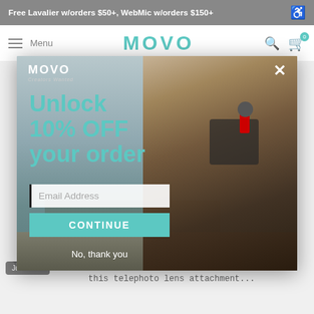Free Lavalier w/orders $50+, WebMic w/orders $150+
MOVO
[Figure (screenshot): Popup modal overlay on the Movo website with a woman holding a camera and a microphone. The modal shows the Movo logo, a close button (X), headline 'Unlock 10% OFF your order', an email address input field, a CONTINUE button, and a 'No, thank you' dismiss link. Background shows city skyline.]
SMARTPHONE TELEPHOTO L...
Take telephoto and macro shots with your smartphone with this telephoto lens attachment...